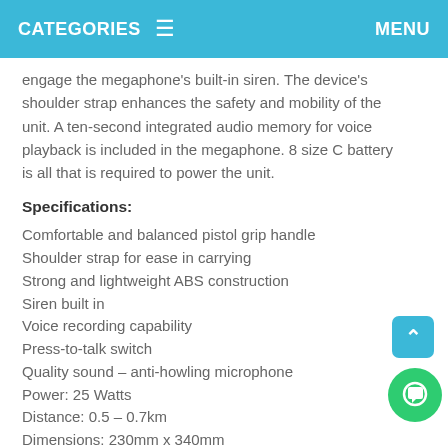CATEGORIES ≡   MENU
engage the megaphone's built-in siren. The device's shoulder strap enhances the safety and mobility of the unit. A ten-second integrated audio memory for voice playback is included in the megaphone. 8 size C battery is all that is required to power the unit.
Specifications:
Comfortable and balanced pistol grip handle
Shoulder strap for ease in carrying
Strong and lightweight ABS construction
Siren built in
Voice recording capability
Press-to-talk switch
Quality sound – anti-howling microphone
Power: 25 Watts
Distance: 0.5 – 0.7km
Dimensions: 230mm x 340mm
8 C cells required